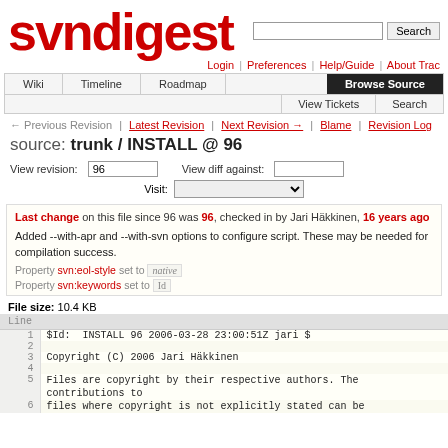svndigest
Login | Preferences | Help/Guide | About Trac
Wiki | Timeline | Roadmap | Browse Source | View Tickets | Search
← Previous Revision | Latest Revision | Next Revision → | Blame | Revision Log
source: trunk / INSTALL @ 96
View revision: 96    View diff against:
Visit:
Last change on this file since 96 was 96, checked in by Jari Häkkinen, 16 years ago
Added --with-apr and --with-svn options to configure script. These may be needed for compilation success.
Property svn:eol-style set to native
Property svn:keywords set to Id
File size: 10.4 KB
| Line |  |
| --- | --- |
| 1 | $Id:  INSTALL 96 2006-03-28 23:00:51Z jari $ |
| 2 |  |
| 3 | Copyright (C) 2006 Jari Häkkinen |
| 4 |  |
| 5 | Files are copyright by their respective authors. The contributions to |
| 6 | files where copyright is not explicitly stated can be |